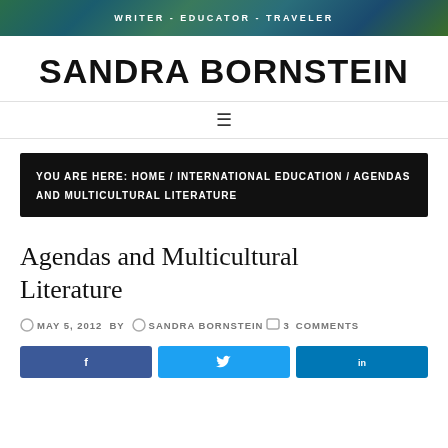WRITER - EDUCATOR - TRAVELER
SANDRA BORNSTEIN
☰
YOU ARE HERE: HOME / INTERNATIONAL EDUCATION / AGENDAS AND MULTICULTURAL LITERATURE
Agendas and Multicultural Literature
MAY 5, 2012  BY  SANDRA BORNSTEIN  3 COMMENTS